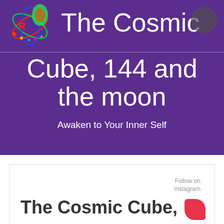[Figure (logo): Colorful abstract logo with figures and atomic/science imagery in red, green, blue colors]
The Cosmic Cube, 144 and the moon
Awaken to Your Inner Self
Follow on instagram
The Cosmic Cube,